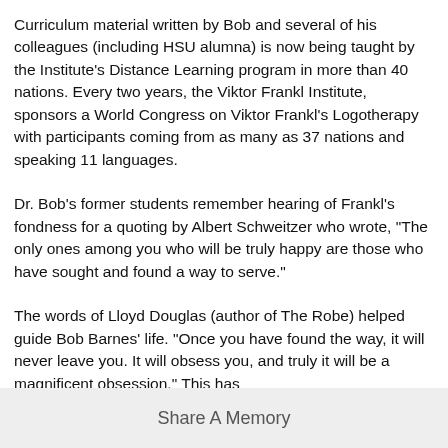Curriculum material written by Bob and several of his colleagues (including HSU alumna) is now being taught by the Institute's Distance Learning program in more than 40 nations. Every two years, the Viktor Frankl Institute, sponsors a World Congress on Viktor Frankl's Logotherapy with participants coming from as many as 37 nations and speaking 11 languages.
Dr. Bob's former students remember hearing of Frankl's fondness for a quoting by Albert Schweitzer who wrote, "The only ones among you who will be truly happy are those who have sought and found a way to serve."
The words of Lloyd Douglas (author of The Robe) helped guide Bob Barnes' life. "Once you have found the way, it will never leave you. It will obsess you, and truly it will be a magnificent obsession." This has
Share A Memory